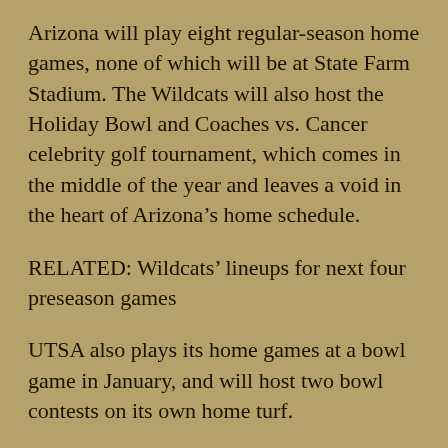Arizona will play eight regular-season home games, none of which will be at State Farm Stadium. The Wildcats will also host the Holiday Bowl and Coaches vs. Cancer celebrity golf tournament, which comes in the middle of the year and leaves a void in the heart of Arizona’s home schedule.
RELATED: Wildcats’ lineups for next four preseason games
UTSA also plays its home games at a bowl game in January, and will host two bowl contests on its own home turf.
The Roadrunners will play at Levi’s Stadium in Santa Clara, Calif., on Dec. 27